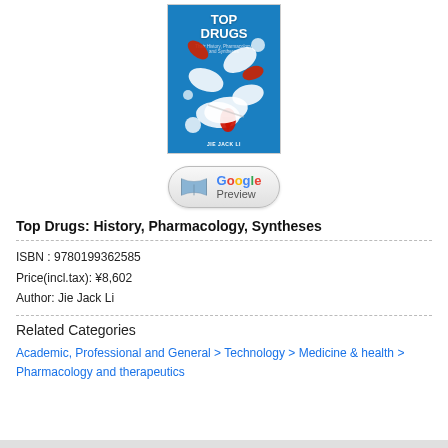[Figure (photo): Book cover of 'Top Drugs: History, Pharmacology, and Syntheses' by Jie Jack Li, showing pills and capsules on a blue background]
[Figure (logo): Google Preview button with book icon and Google-colored text]
Top Drugs: History, Pharmacology, Syntheses
ISBN : 9780199362585
Price(incl.tax): ¥8,602
Author: Jie Jack Li
Related Categories
Academic, Professional and General > Technology > Medicine & health > Pharmacology and therapeutics